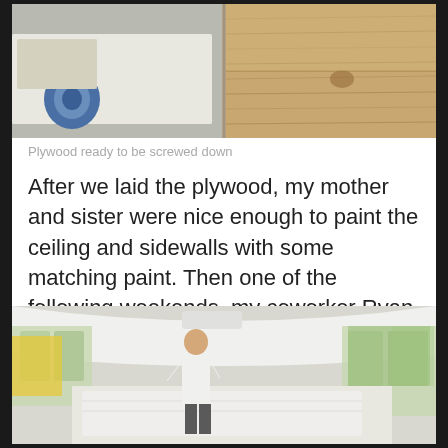[Figure (photo): Two photos side by side showing plywood panels laid out, with blue tape roll visible on the left panel and wood grain visible on the right panel.]
Plywood ready to be screwed down
After we laid the plywood, my mother and sister were nice enough to paint the ceiling and sidewalls with some matching paint. Then one of the following weekends, my coworker Ryan came by to assist in installing the linoleum.
[Figure (photo): A man standing inside a school bus that has been painted white on the ceiling and walls, with large windows on both sides showing trees and a yellow bus outside.]